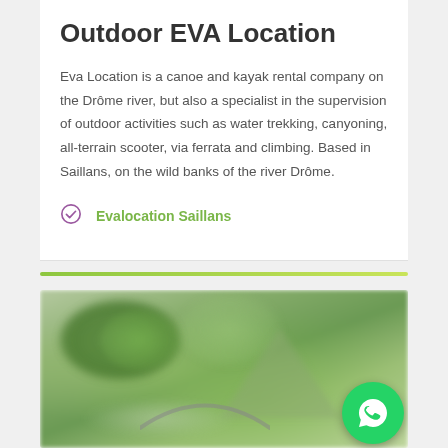Outdoor EVA Location
Eva Location is a canoe and kayak rental company on the Drôme river, but also a specialist in the supervision of outdoor activities such as water trekking, canyoning, all-terrain scooter, via ferrata and climbing. Based in Saillans, on the wild banks of the river Drôme.
Evalocation Saillans
[Figure (photo): Outdoor nature photo showing greenery, mountains, and wildflowers with a bicycle handlebar visible. WhatsApp contact button overlay in bottom right.]